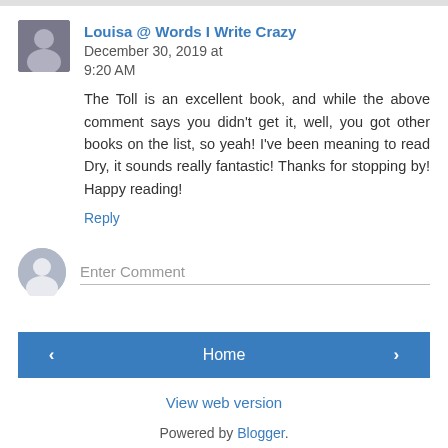Louisa @ Words I Write Crazy December 30, 2019 at 9:20 AM
The Toll is an excellent book, and while the above comment says you didn't get it, well, you got other books on the list, so yeah! I've been meaning to read Dry, it sounds really fantastic! Thanks for stopping by! Happy reading!
Reply
Enter Comment
Home
View web version
Powered by Blogger.